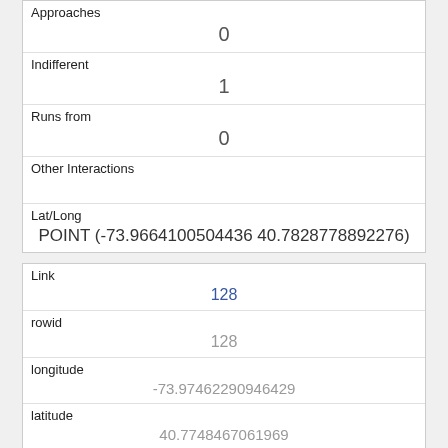| Field | Value |
| --- | --- |
| Approaches | 0 |
| Indifferent | 1 |
| Runs from | 0 |
| Other Interactions |  |
| Lat/Long | POINT (-73.9664100504436 40.7828778892276) |
| Field | Value |
| --- | --- |
| Link | 128 |
| rowid | 128 |
| longitude | -73.97462290946429 |
| latitude | 40.7748467061969 |
| Unique Squirrel ID | 10B-PM-1014-05 |